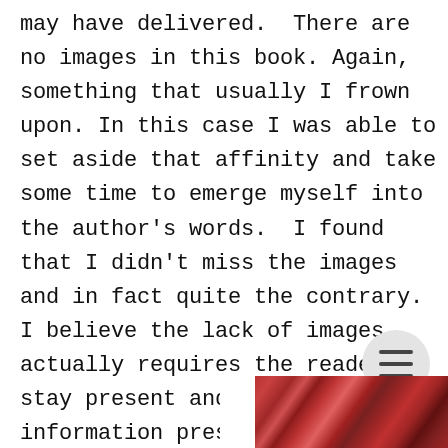may have delivered.  There are no images in this book. Again, something that usually I frown upon. In this case I was able to set aside that affinity and take some time to emerge myself into the author's words.  I found that I didn't miss the images and in fact quite the contrary. I believe the lack of images actually requires the reader to stay present and full digest the information presented.  The book has a decent size index and makes locating exact 'moments' for future use and easy.
[Figure (photo): Partial view of a colorful textile or quilt with red, purple, and dark tones visible at the bottom of the page]